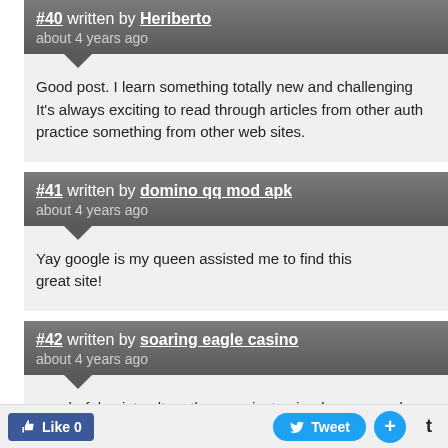#40 written by Heriberto
about 4 years ago
Good post. I learn something totally new and challenging It's always exciting to read through articles from other auth practice something from other web sites.
#41 written by domino qq mod apk
about 4 years ago
Yay google is my queen assisted me to find this great site!
#42 written by soaring eagle casino
about 4 years ago
wonderful points altogether, you just gained a new reader. What may you suggest in regards to your post that you just made some days in the past? Any certain?